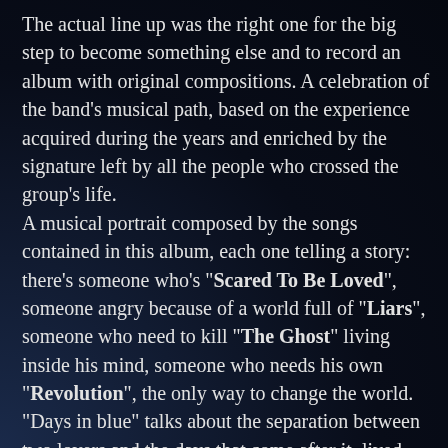The actual line up was the right one for the big step to become something else and to record an album with original compositions. A celebration of the band's musical path, based on the experience acquired during the years and enriched by the signature left by all the people who crossed the group's life.
A musical portrait composed by the songs contained in this album, each one telling a story: there's someone who's "Scared To Be Loved", someone angry because of a world full of "Liars", someone who need to kill "The Ghost" living inside his mind, someone who needs his own "Revolution", the only way to change the world. "Days in blue" talks about the separation between two lovers and the days that come after it, lived with sadness waiting for time to